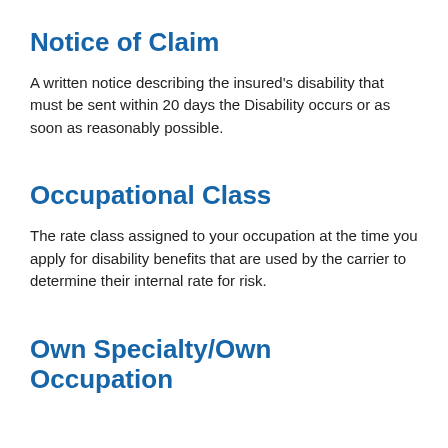Notice of Claim
A written notice describing the insured's disability that must be sent within 20 days the Disability occurs or as soon as reasonably possible.
Occupational Class
The rate class assigned to your occupation at the time you apply for disability benefits that are used by the carrier to determine their internal rate for risk.
Own Specialty/Own Occupation